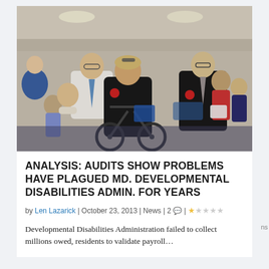[Figure (photo): A woman in a wheelchair wearing a black jacket and a red button badge sits among a crowd of people at what appears to be a formal meeting or hearing. A man in a white shirt with a blue tie sits behind her to the left, and a man in a dark suit sits to her right. Multiple people are visible in the background in an indoor setting with beige walls.]
ANALYSIS: AUDITS SHOW PROBLEMS HAVE PLAGUED MD. DEVELOPMENTAL DISABILITIES ADMIN. FOR YEARS
by Len Lazarick | October 23, 2013 | News | 2 | ★☆☆☆☆
Developmental Disabilities Administration failed to collect millions owed, residents to validate payroll...